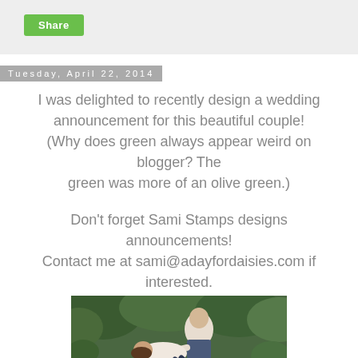Share
Tuesday, April 22, 2014
I was delighted to recently design a wedding announcement for this beautiful couple! (Why does green always appear weird on blogger? The green was more of an olive green.)
Don't forget Sami Stamps designs announcements! Contact me at sami@adayfordaisies.com if interested.
[Figure (photo): A couple in a romantic dip pose outdoors surrounded by green foliage. The man dips the woman dramatically while they appear to kiss.]